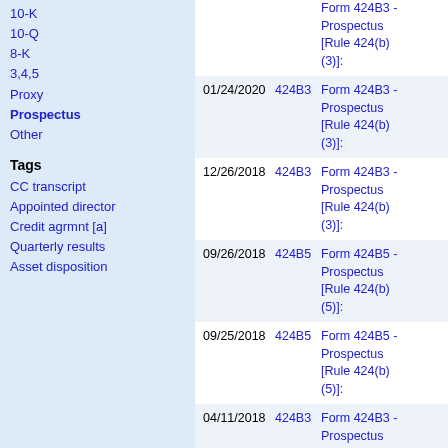10-K
10-Q
8-K
3,4,5
Proxy
Prospectus
Other
Tags
CC transcript
Appointed director
Credit agrmnt [a]
Quarterly results
Asset disposition
| Date | Type | Description |
| --- | --- | --- |
|  |  | Form 424B3 - Prospectus [Rule 424(b)(3)]: |
| 01/24/2020 | 424B3 | Form 424B3 - Prospectus [Rule 424(b)(3)]: |
| 12/26/2018 | 424B3 | Form 424B3 - Prospectus [Rule 424(b)(3)]: |
| 09/26/2018 | 424B5 | Form 424B5 - Prospectus [Rule 424(b)(5)]: |
| 09/25/2018 | 424B5 | Form 424B5 - Prospectus [Rule 424(b)(5)]: |
| 04/11/2018 | 424B3 | Form 424B3 - Prospectus [Rule 424(b)(3)]: |
| 03/18/2013 | 424B5 | Form 424B5 - Prospectus [Rule 424(b)(5)] |
| 03/09/2011 | 424B2 | Form 424B2 - Prospectus |